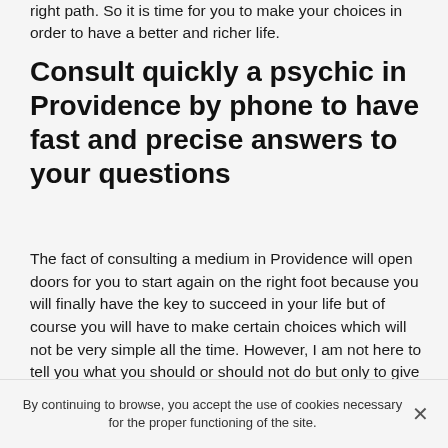right path. So it is time for you to make your choices in order to have a better and richer life.
Consult quickly a psychic in Providence by phone to have fast and precise answers to your questions
The fact of consulting a medium in Providence will open doors for you to start again on the right foot because you will finally have the key to succeed in your life but of course you will have to make certain choices which will not be very simple all the time. However, I am not here to tell you what you should or should not do but only to give you answers to your questions. From then on, it is up to you and you alone to do what you think is right for you. In fact, during our next phone consultation, I will give you some solutions to get a new life but if you think they are not good ideas then I leave you free to do as you wish. That being
By continuing to browse, you accept the use of cookies necessary for the proper functioning of the site.